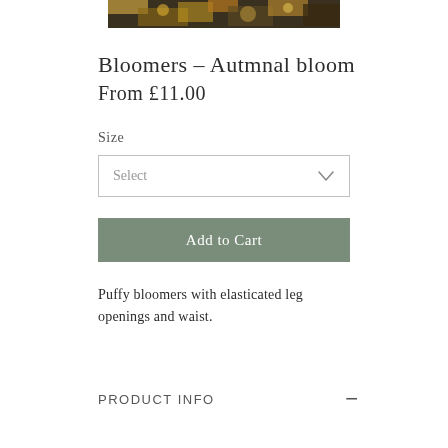[Figure (photo): Partial product photo of autumnal bloom bloomers fabric at top of page]
Bloomers – Autmnal bloom
From £11.00
Size
Select
Add to Cart
Puffy bloomers with elasticated leg openings and waist.
PRODUCT INFO